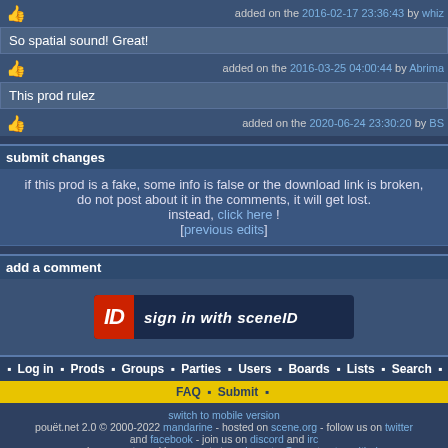added on the 2016-02-17 23:36:43 by whiz
So spatial sound! Great!
added on the 2016-03-25 04:00:44 by Abrima
This prod rulez
added on the 2020-06-24 23:30:20 by BS
submit changes
if this prod is a fake, some info is false or the download link is broken, do not post about it in the comments, it will get lost. instead, click here ! [previous edits]
add a comment
[Figure (logo): Sign in with SceneID button - red ID badge with white italic text 'sign in with sceneID']
Log in · Prods · Groups · Parties · Users · Boards · Lists · Search · BBS
FAQ · Submit
switch to mobile version
pouët.net 2.0 © 2000-2022 mandarine - hosted on scene.org - follow us on twitter and facebook - join us on discord and irc
send comments and bug reports to webmaster@pouet.net or github
page created in 0.009564 seconds.